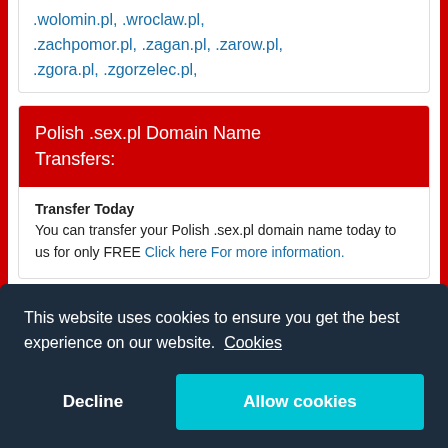.wolomin.pl, .wroclaw.pl, .zachpomor.pl, .zagan.pl, .zarow.pl, .zgora.pl, .zgorzelec.pl,
Polish .sex.pl Domain Name Transfers:
Transfer Today
You can transfer your Polish .sex.pl domain name today to us for only FREE Click here For more information.
Important:
This website uses cookies to ensure you get the best experience on our website. Cookies
Decline
Allow cookies
Reserved Polish .sex.pl Names
The Polish registry reserves some names for its own